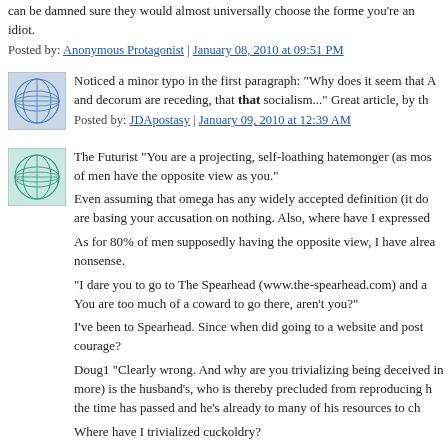can be damned sure they would almost universally choose the forme you're an idiot.
Posted by: Anonymous Protagonist | January 08, 2010 at 09:51 PM
[Figure (illustration): Blue geometric globe avatar icon]
Noticed a minor typo in the first paragraph: "Why does it seem that A and decorum are receding, that that socialism..." Great article, by th
Posted by: JDApostasy | January 09, 2010 at 12:39 AM
[Figure (illustration): Teal/green geometric globe avatar icon]
The Futurist "You are a projecting, self-loathing hatemonger (as mos of men have the opposite view as you."
Even assuming that omega has any widely accepted definition (it do are basing your accusation on nothing. Also, where have I expressed
As for 80% of men supposedly having the opposite view, I have alrea nonsense.
"I dare you to go to The Spearhead (www.the-spearhead.com) and a You are too much of a coward to go there, aren't you?"
I've been to Spearhead. Since when did going to a website and post courage?
Doug1 "Clearly wrong. And why are you trivializing being deceived in more) is the husband's, who is thereby precluded from reproducing h the time has passed and he's already to many of his resources to ch
Where have I trivialized cuckoldry?